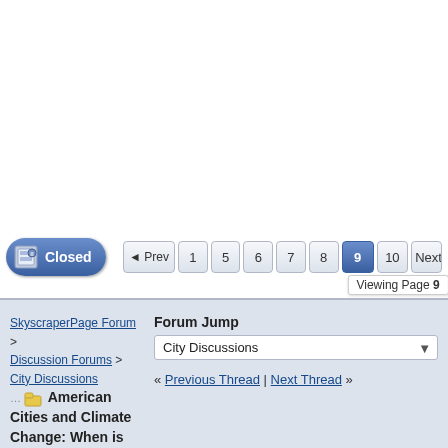[Figure (screenshot): White space at top of page]
Closed | « Prev | 1 | 5 | 6 | 7 | 8 | 9 (active) | 10 | Next — Viewing Page 9
SkyscraperPage Forum > Discussion Forums > City Discussions
American Cities and Climate Change: When is Enough, Enough?
Forum Jump
City Discussions
« Previous Thread | Next Thread »